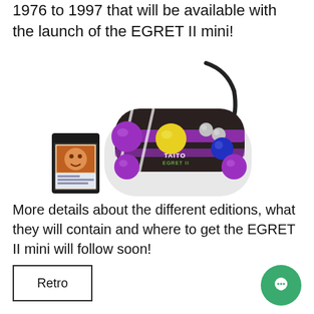1976 to 1997 that will be available with the launch of the EGRET II mini!
[Figure (photo): Photo of the EGRET II mini controller (purple/white arcade pad with yellow and purple buttons, TAITO branding, connected by a cable) next to an SD card with a game cover image.]
More details about the different editions, what they will contain and where to get the EGRET II mini will follow soon!
Retro